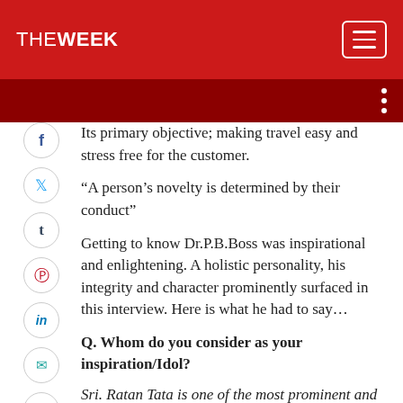THE WEEK
Its primary objective; making travel easy and stress free for the customer.
“A person’s novelty is determined by their conduct”
Getting to know Dr.P.B.Boss was inspirational and enlightening. A holistic personality, his integrity and character prominently surfaced in this interview. Here is what he had to say…
Q. Whom do you consider as your inspiration/Idol?
Sri. Ratan Tata is one of the most prominent and responsible Indian leaders. He built a